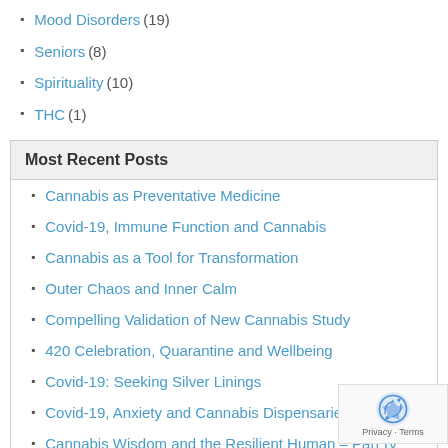Mood Disorders (19)
Seniors (8)
Spirituality (10)
THC (1)
Most Recent Posts
Cannabis as Preventative Medicine
Covid-19, Immune Function and Cannabis
Cannabis as a Tool for Transformation
Outer Chaos and Inner Calm
Compelling Validation of New Cannabis Study
420 Celebration, Quarantine and Wellbeing
Covid-19: Seeking Silver Linings
Covid-19, Anxiety and Cannabis Dispensaries
Cannabis Wisdom and the Resilient Human – Part IV
Cannabis Wisdom and the Resilient Human – Part III
Cannabis Wisdom and the Resilient Human – Part II
Cannabis Wisdom and the Resilient Human – Part I